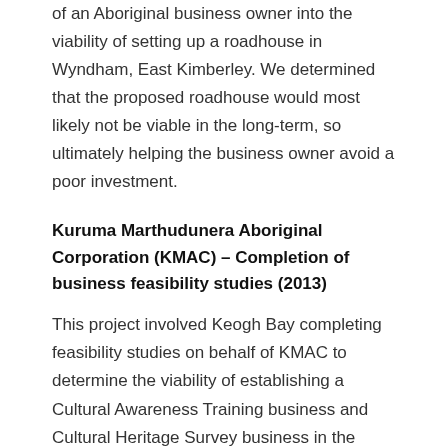of an Aboriginal business owner into the viability of setting up a roadhouse in Wyndham, East Kimberley. We determined that the proposed roadhouse would most likely not be viable in the long-term, so ultimately helping the business owner avoid a poor investment.
Kuruma Marthudunera Aboriginal Corporation (KMAC) – Completion of business feasibility studies (2013)
This project involved Keogh Bay completing feasibility studies on behalf of KMAC to determine the viability of establishing a Cultural Awareness Training business and Cultural Heritage Survey business in the Pilbara. The determination was made in consultation with the Kuruma and